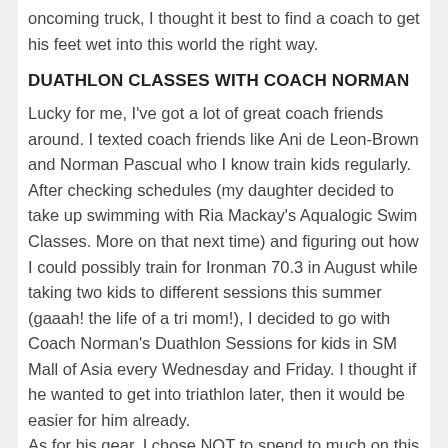oncoming truck, I thought it best to find a coach to get his feet wet into this world the right way.
DUATHLON CLASSES WITH COACH NORMAN
Lucky for me, I’ve got a lot of great coach friends around.  I texted coach friends like Ani de Leon-Brown and Norman Pascual who I know train kids regularly.  After checking schedules (my daughter decided to take up swimming with Ria Mackay’s Aqualogic Swim Classes. More on that next time) and figuring out how I could possibly train for Ironman 70.3 in August while taking two kids to different sessions this summer (gaaah! the life of a tri mom!), I decided to go with Coach Norman’s Duathlon Sessions for kids in SM Mall of Asia every Wednesday and Friday. I thought if he wanted to get into triathlon later, then it would be easier for him already.
As for his gear, I chose NOT to spend to much on this just yet.  The only thing we really invested in were his shoes: Asics Gel Kayano, a few months ago. (I love run shoes and